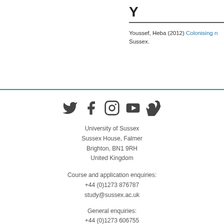Y
Youssef, Heba (2012) Colonising n... Sussex.
[Figure (illustration): Social media icons: Twitter, Facebook, Instagram, YouTube, Vimeo]
University of Sussex
Sussex House, Falmer
Brighton, BN1 9RH
United Kingdom
Course and application enquiries:
+44 (0)1273 876787
study@sussex.ac.uk
General enquiries:
+44 (0)1273 606755
information@sussex.ac.uk